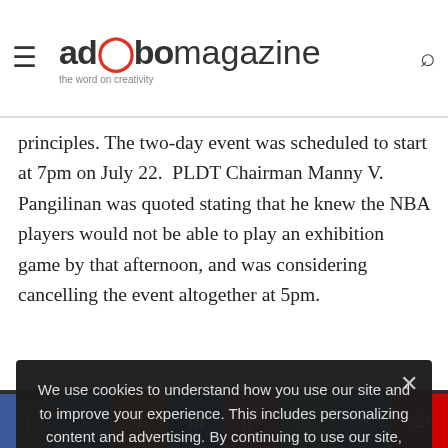adobo magazine – the word on creativity
its response to the abrupt cancellation of the Last Home Stand, and apply these principles. The two-day event was scheduled to start at 7pm on July 22. PLDT Chairman Manny V. Pangilinan was quoted stating that he knew the NBA players would not be able to play an exhibition game by that afternoon, and was considering cancelling the event altogether at 5pm.
The event went ahead anyway, and the audience arrived expecting to see the live NBA players after hours of delay, around the time, there were announcements at the event that they would do a training exercise instead. Fans who wanted their money back were entitled to a refund. Fans were reminded that this was for charity, which appeared to many to be a veiled plea not to request a
We use cookies to understand how you use our site and to improve your experience. This includes personalizing content and advertising. By continuing to use our site, you accept our Privacy Policy.
Privacy Preferences
I Agree